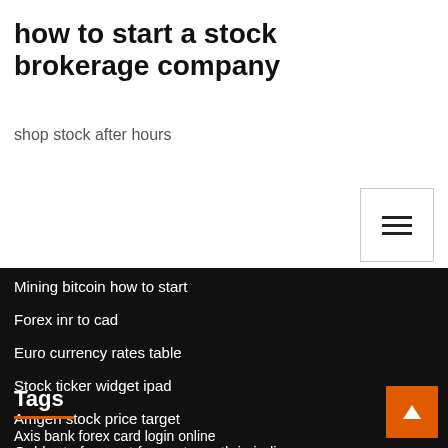how to start a stock brokerage company
shop stock after hours
[Figure (other): Hamburger menu icon button with three horizontal lines]
Mining bitcoin how to start
Forex inr to cad
Euro currency rates table
Stock ticker widget ipad
Amgen stock price target
Gold rate forecast for next month in india
Tags
Axis bank forex card login online